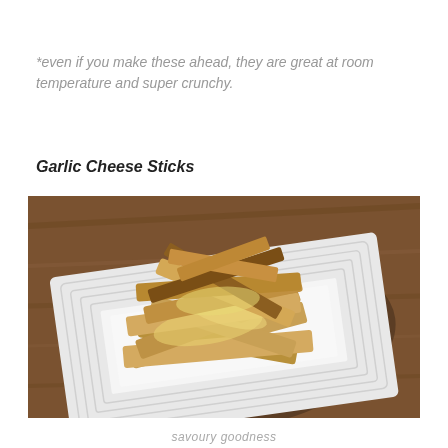*even if you make these ahead, they are great at room temperature and super crunchy.
Garlic Cheese Sticks
[Figure (photo): A white square ridged plate topped with a pile of golden-brown toasted garlic cheese sticks, sitting on a wood-grain table surface.]
savoury goodness